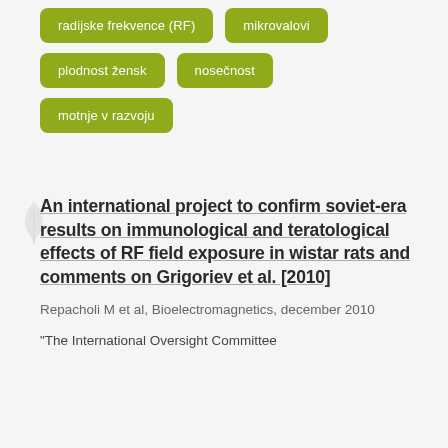radijske frekvence (RF)
mikrovalovi
plodnost žensk
nosečnost
motnje v razvoju
An international project to confirm soviet-era results on immunological and teratological effects of RF field exposure in wistar rats and comments on Grigoriev et al. [2010]
Repacholi M et al, Bioelectromagnetics, december 2010
"The International Oversight Committee